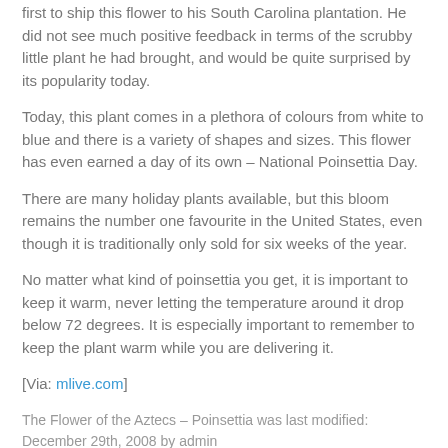first to ship this flower to his South Carolina plantation. He did not see much positive feedback in terms of the scrubby little plant he had brought, and would be quite surprised by its popularity today.
Today, this plant comes in a plethora of colours from white to blue and there is a variety of shapes and sizes. This flower has even earned a day of its own – National Poinsettia Day.
There are many holiday plants available, but this bloom remains the number one favourite in the United States, even though it is traditionally only sold for six weeks of the year.
No matter what kind of poinsettia you get, it is important to keep it warm, never letting the temperature around it drop below 72 degrees. It is especially important to remember to keep the plant warm while you are delivering it.
[Via: mlive.com]
The Flower of the Aztecs – Poinsettia was last modified: December 29th, 2008 by admin